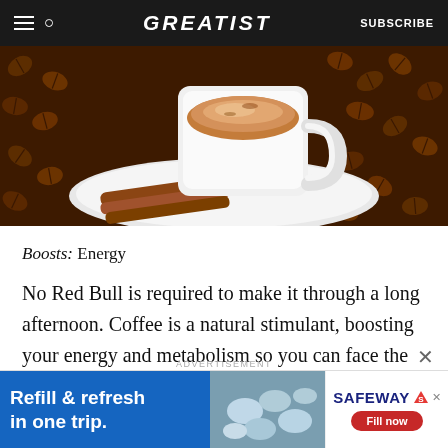GREATIST | SUBSCRIBE
[Figure (photo): A white coffee cup filled with cappuccino on a white saucer, surrounded by coffee beans and cinnamon sticks on a dark rustic background.]
Boosts: Energy
No Red Bull is required to make it through a long afternoon. Coffee is a natural stimulant, boosting your energy and metabolism so you can face the day.
ADVERTISEMENT
[Figure (screenshot): Safeway advertisement banner: 'Refill & refresh in one trip.' with pill imagery and Safeway logo with 'Fill now' button.]